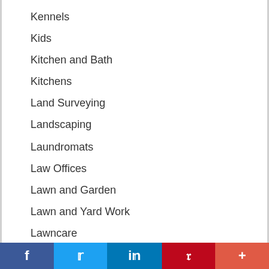Kennels
Kids
Kitchen and Bath
Kitchens
Land Surveying
Landscaping
Laundromats
Law Offices
Lawn and Garden
Lawn and Yard Work
Lawncare
Leaf Removal
Legal
Legal Consulting
f  Twitter  in  P  +